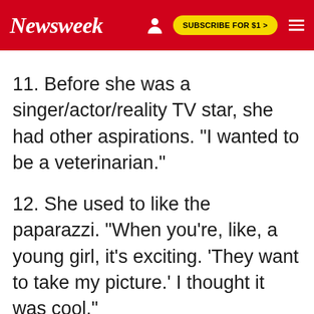Newsweek | SUBSCRIBE FOR $1 >
11. Before she was a singer/actor/reality TV star, she had other aspirations. "I wanted to be a veterinarian."
12. She used to like the paparazzi. "When you're, like, a young girl, it's exciting. 'They want to take my picture.' I thought it was cool."